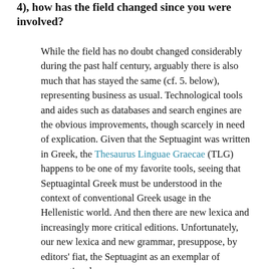4), how has the field changed since you were involved?
While the field has no doubt changed considerably during the past half century, arguably there is also much that has stayed the same (cf. 5. below), representing business as usual. Technological tools and aides such as databases and search engines are the obvious improvements, though scarcely in need of explication. Given that the Septuagint was written in Greek, the Thesaurus Linguae Graecae (TLG) happens to be one of my favorite tools, seeing that Septuagintal Greek must be understood in the context of conventional Greek usage in the Hellenistic world. And then there are new lexica and increasingly more critical editions. Unfortunately, our new lexica and new grammar, presuppose, by editors' fiat, the Septuagint as an exemplar of conventional